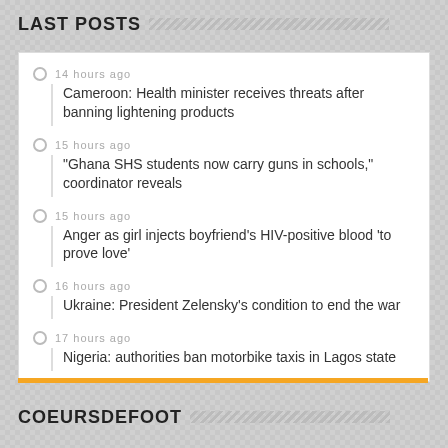LAST POSTS
14 hours ago — Cameroon: Health minister receives threats after banning lightening products
15 hours ago — “Ghana SHS students now carry guns in schools,” coordinator reveals
15 hours ago — Anger as girl injects boyfriend’s HIV-positive blood ‘to prove love’
16 hours ago — Ukraine: President Zelensky’s condition to end the war
17 hours ago — Nigeria: authorities ban motorbike taxis in Lagos state
COEURSDEFOOT